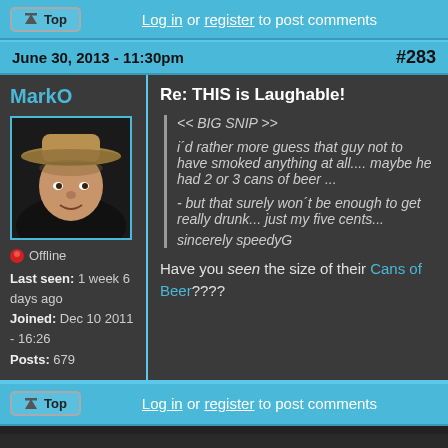Top | Log in or register to post comments
June 30, 2013 - 11:30pm  #283
MarkO
[Figure (photo): Avatar photo of user MarkO - man wearing a wide-brimmed hat, smiling]
Offline
Last seen: 1 week 6 days ago
Joined: Dec 10 2011 - 16:26
Posts: 679
Re: THIS is Laughable!
<< BIG SNIP >>

i´d rather more guess that guy not to have smoked anything at all.... maybe he had 2 or 3 cans of beer ...

- but that surely won´t be enough to get really drunk... just my five cents... sincerely speedyG
Have you seen the size of their Cans of Beer????
Top | Log in or register to post comments